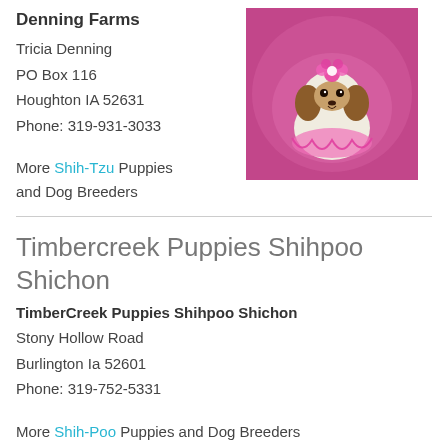Denning Farms
Tricia Denning
PO Box 116
Houghton IA 52631
Phone: 319-931-3033
[Figure (photo): A small Shih-Tzu puppy wearing a pink flower headband and a pink tutu, posed on a pink fluffy background]
More Shih-Tzu Puppies and Dog Breeders
Timbercreek Puppies Shihpoo Shichon
TimberCreek Puppies Shihpoo Shichon
Stony Hollow Road
Burlington Ia 52601
Phone: 319-752-5331
More Shih-Poo Puppies and Dog Breeders